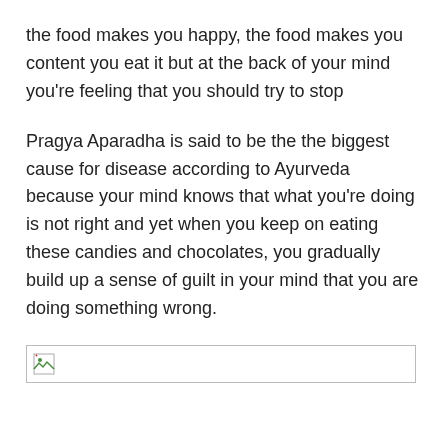the food makes you happy, the food makes you content you eat it but at the back of your mind you're feeling that you should try to stop
Pragya Aparadha is said to be the the biggest cause for disease according to Ayurveda because your mind knows that what you're doing is not right and yet when you keep on eating these candies and chocolates, you gradually build up a sense of guilt in your mind that you are doing something wrong.
[Figure (photo): Broken image placeholder — a small broken image icon inside a rectangular border, representing a missing or unloaded image.]